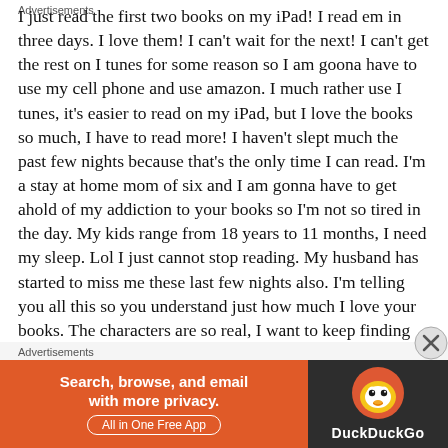I just read the first two books on my iPad! I read em in three days. I love them! I can't wait for the next! I can't get the rest on I tunes for some reason so I am goona have to use my cell phone and use amazon. I much rather use I tunes, it's easier to read on my iPad, but I love the books so much, I have to read more! I haven't slept much the past few nights because that's the only time I can read. I'm a stay at home mom of six and I am gonna have to get ahold of my addiction to your books so I'm not so tired in the day. My kids range from 18 years to 11 months, I need my sleep. Lol I just cannot stop reading. My husband has started to miss me these last few nights also. I'm telling you all this so you understand just how much I love your books. The characters are so real, I want to keep finding out what's happening and what's going to happen. I read every zombie book I can get my hands on, and yours are
Advertisements
[Figure (infographic): DuckDuckGo advertisement banner. Orange left panel with text 'Search, browse, and email with more privacy. All in One Free App'. Dark right panel with DuckDuckGo duck logo and text 'DuckDuckGo'.]